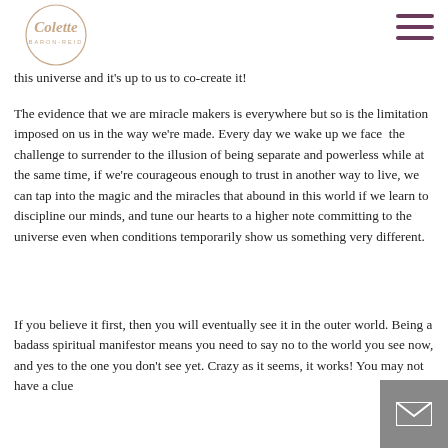Colette Baron-Reid — logo and navigation
this universe and it's up to us to co-create it!
The evidence that we are miracle makers is everywhere but so is the limitation imposed on us in the way we're made. Every day we wake up we face  the challenge to surrender to the illusion of being separate and powerless while at the same time, if we're courageous enough to trust in another way to live, we can tap into the magic and the miracles that abound in this world if we learn to discipline our minds, and tune our hearts to a higher note committing to the universe even when conditions temporarily show us something very different.
If you believe it first, then you will eventually see it in the outer world. Being a badass spiritual manifestor means you need to say no to the world you see now, and yes to the one you don't see yet. Crazy as it seems, it works! You may not have a clue